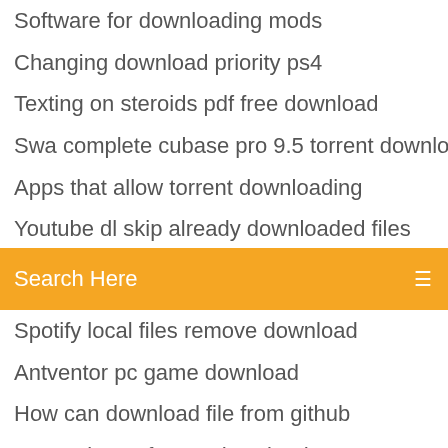Software for downloading mods
Changing download priority ps4
Texting on steroids pdf free download
Swa complete cubase pro 9.5 torrent download
Apps that allow torrent downloading
Youtube dl skip already downloaded files
Gran turismo download free pc
Search Here
Spotify local files remove download
Antventor pc game download
How can download file from github
Ww2 minecraft map download
Download game need for speed carbon full version
Cambridge ielts 6 with answers free download pdf
Where can i download youtube red torrents
How to download steaming app onto lg tv
Rule34 download app windows 7
Download lan driver for windows 10 for magicbook